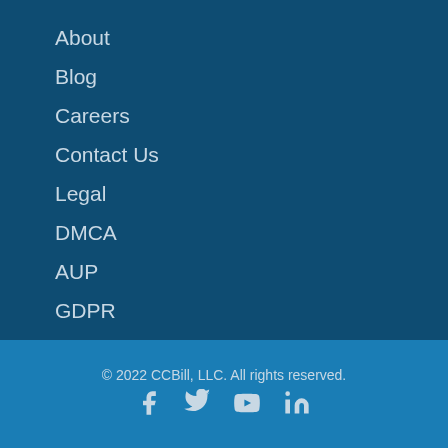About
Blog
Careers
Contact Us
Legal
DMCA
AUP
GDPR
© 2022 CCBill, LLC. All rights reserved.
[Figure (infographic): Social media icons: Facebook, Twitter, YouTube, LinkedIn]